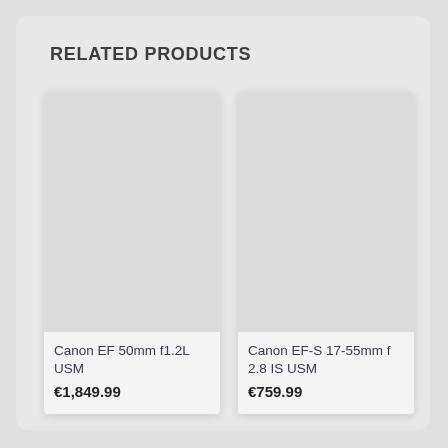RELATED PRODUCTS
[Figure (other): Product card placeholder image for Canon EF 50mm f1.2L USM]
Canon EF 50mm f1.2L USM
€1,849.99
[Figure (other): Product card placeholder image for Canon EF-S 17-55mm f 2.8 IS USM]
Canon EF-S 17-55mm f 2.8 IS USM
€759.99